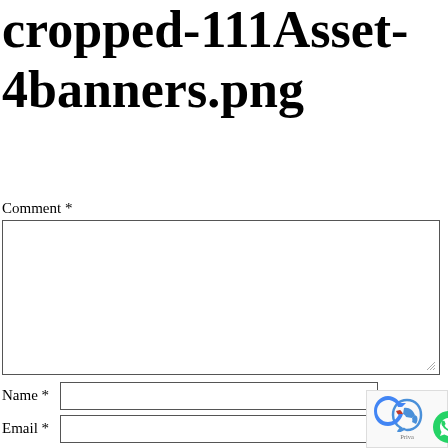cropped-111Asset-4banners.png
Comment *
[Figure (other): Comment text area input field (empty, with resize handle)]
Name *
[Figure (other): Name text input field (empty)]
Email *
[Figure (other): Email text input field (empty)]
[Figure (other): reCAPTCHA badge with privacy text and WhatsApp icon overlay]